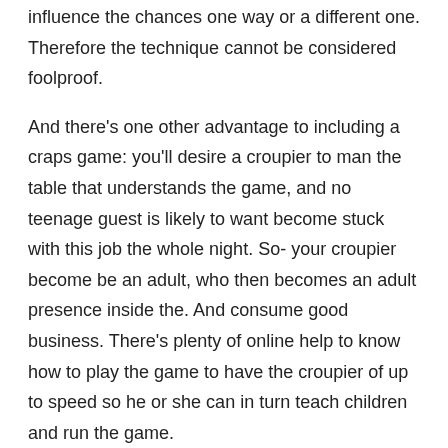influence the chances one way or a different one. Therefore the technique cannot be considered foolproof.
And there's one other advantage to including a craps game: you'll desire a croupier to man the table that understands the game, and no teenage guest is likely to want become stuck with this job the whole night. So- your croupier become be an adult, who then becomes an adult presence inside the. And consume good business. There's plenty of online help to know how to play the game to have the croupier of up to speed so he or she can in turn teach children and run the game.
Another benefit from playing Casino games on the internet is that will be able to actually bet real money – extended as as totally a secure site which will take good your information. Here, a few additional take having a look at selected rules regarding how to are popular game called Casino War.
Online gaming doesn't have any better than Real Time Gaming. To